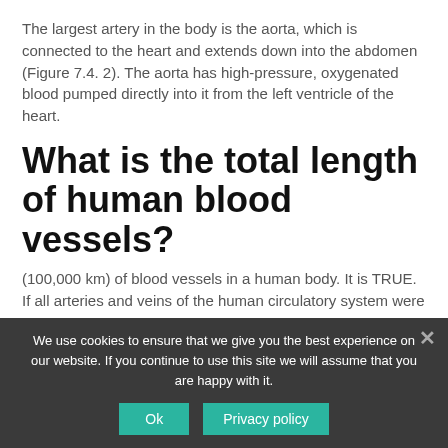The largest artery in the body is the aorta, which is connected to the heart and extends down into the abdomen (Figure 7.4. 2). The aorta has high-pressure, oxygenated blood pumped directly into it from the left ventricle of the heart.
What is the total length of human blood vessels?
(100,000 km) of blood vessels in a human body. It is TRUE. If all arteries and veins of the human circulatory system were laid end to end, the total length would be 60,000 mi.
[Figure (infographic): Advertisement for OnlineDivorcer - Divorce Made Simple with Court-Approved Forms and $139 for All Documents]
We use cookies to ensure that we give you the best experience on our website. If you continue to use this site we will assume that you are happy with it.